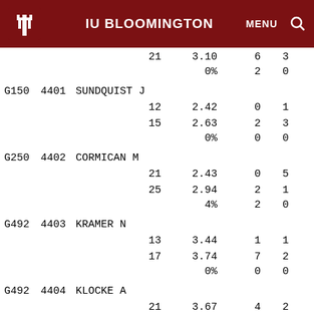IU BLOOMINGTON  MENU  🔍
| Code | ID | Name/Data | Col1 | Col2 | Col3 | Col4 |
| --- | --- | --- | --- | --- | --- | --- |
|  |  |  | 21 | 3.10 | 6 | 3 |
|  |  |  |  | 0% | 2 | 0 |
| G150 | 4401 | SUNDQUIST J |  |  |  |  |
|  |  |  | 12 | 2.42 | 0 | 1 |
|  |  |  | 15 | 2.63 | 2 | 3 |
|  |  |  |  | 0% | 0 | 0 |
| G250 | 4402 | CORMICAN M |  |  |  |  |
|  |  |  | 21 | 2.43 | 0 | 5 |
|  |  |  | 25 | 2.94 | 2 | 1 |
|  |  |  |  | 4% | 2 | 0 |
| G492 | 4403 | KRAMER N |  |  |  |  |
|  |  |  | 13 | 3.44 | 1 | 1 |
|  |  |  | 17 | 3.74 | 7 | 2 |
|  |  |  |  | 0% | 0 | 0 |
| G492 | 4404 | KLOCKE A |  |  |  |  |
|  |  |  | 21 | 3.67 | 4 | 2 |
|  |  |  | 25 | 3.75 | 6 | 2 |